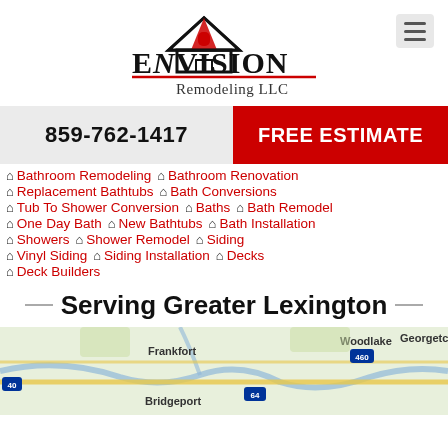[Figure (logo): Envision Remodeling LLC logo with house/triangle graphic above the text]
859-762-1417
FREE ESTIMATE
Bathroom Remodeling
Bathroom Renovation
Replacement Bathtubs
Bath Conversions
Tub To Shower Conversion
Baths
Bath Remodel
One Day Bath
New Bathtubs
Bath Installation
Showers
Shower Remodel
Siding
Vinyl Siding
Siding Installation
Decks
Deck Builders
Serving Greater Lexington
[Figure (map): Map showing greater Lexington Kentucky area including Frankfort, Woodlake, Georgetown, Bridgeport locations and highways 460, 64]